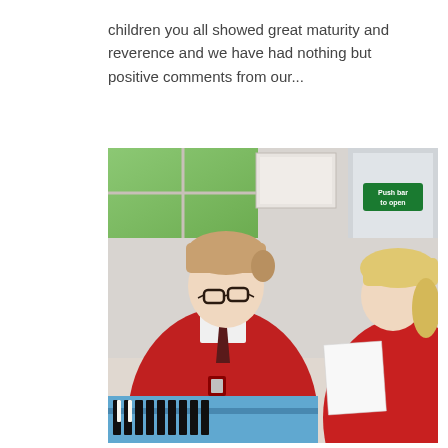children you all showed great maturity and reverence and we have had nothing but positive comments from our...
[Figure (photo): Two school children in red uniforms/jumpers sitting at a desk. The child on the left wears glasses and is looking down, holding a pencil. A green 'Push bar to open' sign is visible on a door in the background. Blue tray/desk visible in the foreground.]